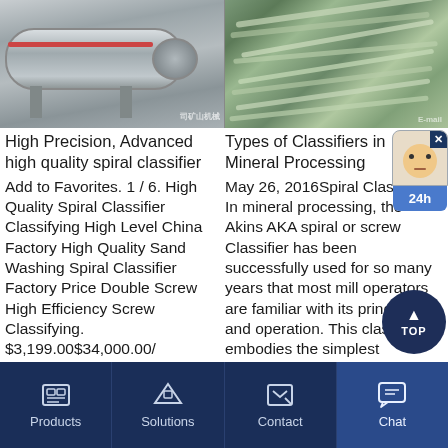[Figure (photo): Left: Industrial ball mill or spiral classifier machine in gray color. Right: Aerial view of open-pit mine with winding roads/terraces.]
High Precision, Advanced high quality spiral classifier
Types of Classifiers in Mineral Processing
Add to Favorites. 1 / 6. High Quality Spiral Classifier Classifying High Level China Factory High Quality Sand Washing Spiral Classifier Factory Price Double Screw High Efficiency Screw Classifying. $3,199.00$34,000.00/
May 26, 2016Spiral Classifier. In mineral processing, the Akins AKA spiral or screw Classifier has been successfully used for so many years that most mill operators are familiar with its principle and operation. This classifier embodies the simplest
Products | Solutions | Contact | Chat